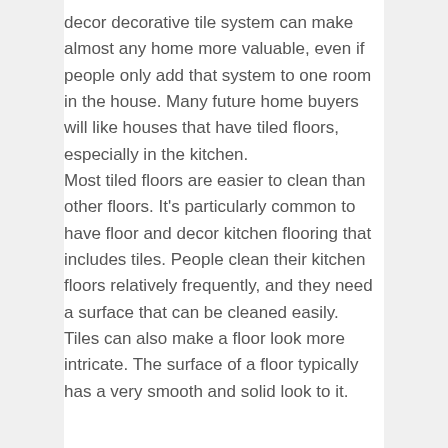decor decorative tile system can make almost any home more valuable, even if people only add that system to one room in the house. Many future home buyers will like houses that have tiled floors, especially in the kitchen.
Most tiled floors are easier to clean than other floors. It's particularly common to have floor and decor kitchen flooring that includes tiles. People clean their kitchen floors relatively frequently, and they need a surface that can be cleaned easily.
Tiles can also make a floor look more intricate. The surface of a floor typically has a very smooth and solid look to it.